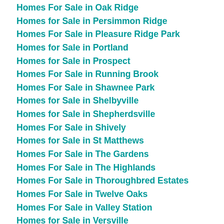Homes For Sale in Oak Ridge
Homes for Sale in Persimmon Ridge
Homes For Sale in Pleasure Ridge Park
Homes for Sale in Portland
Homes for Sale in Prospect
Homes For Sale in Running Brook
Homes For Sale in Shawnee Park
Homes for Sale in Shelbyville
Homes for Sale in Shepherdsville
Homes For Sale in Shively
Homes for Sale in St Matthews
Homes For Sale in The Gardens
Homes For Sale in The Highlands
Homes For Sale in Thoroughbred Estates
Homes For Sale in Twelve Oaks
Homes For Sale in Valley Station
Homes for Sale in Versville